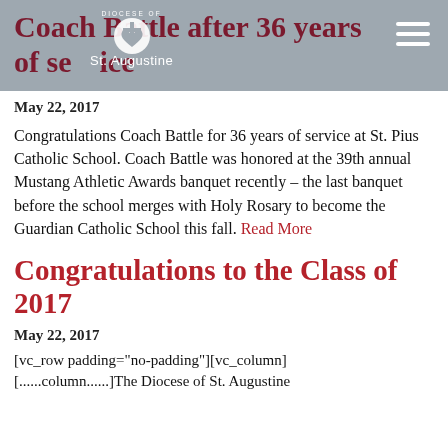Coach Battle after 36 years of service
[Figure (logo): Diocese of St. Augustine logo with cross/heart icon and text]
May 22, 2017
Congratulations Coach Battle for 36 years of service at St. Pius Catholic School. Coach Battle was honored at the 39th annual Mustang Athletic Awards banquet recently – the last banquet before the school merges with Holy Rosary to become the Guardian Catholic School this fall. Read More
Congratulations to the Class of 2017
May 22, 2017
[vc_row padding="no-padding"][vc_column]
[...column...]The Diocese of St. Augustine...